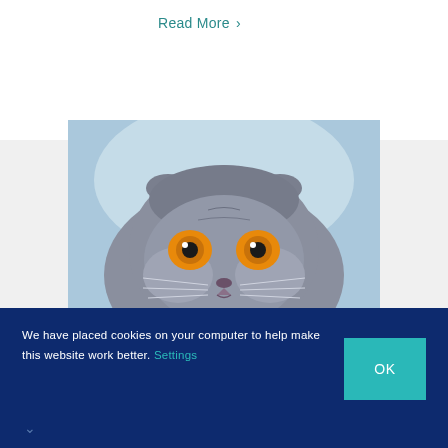Read More >
[Figure (photo): Close-up photo of a grey Scottish Fold cat with orange eyes against a light blue background]
We have placed cookies on your computer to help make this website work better. Settings
OK